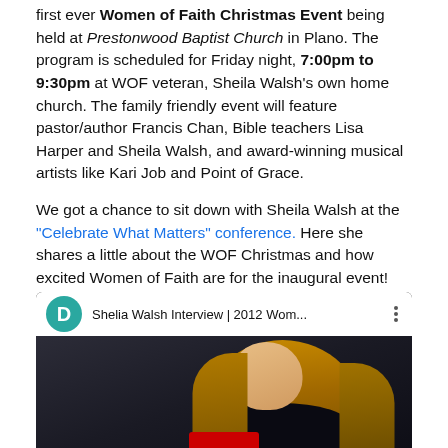first ever Women of Faith Christmas Event being held at Prestonwood Baptist Church in Plano. The program is scheduled for Friday night, 7:00pm to 9:30pm at WOF veteran, Sheila Walsh's own home church. The family friendly event will feature pastor/author Francis Chan, Bible teachers Lisa Harper and Sheila Walsh, and award-winning musical artists like Kari Job and Point of Grace.
We got a chance to sit down with Sheila Walsh at the "Celebrate What Matters" conference. Here she shares a little about the WOF Christmas and how excited Women of Faith are for the inaugural event!
[Figure (screenshot): YouTube video thumbnail showing 'Shelia Walsh Interview | 2012 Wom...' with a channel icon D in teal, three-dot menu, and a blonde woman visible in the lower portion of the thumbnail against a dark background with a red element at bottom.]